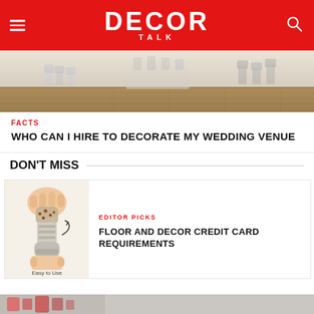DECOR TALK
[Figure (photo): Photo of a wedding venue interior with white chairs and wooden floors]
FACTS
WHO CAN I HIRE TO DECORATE MY WEDDING VENUE
DON'T MISS
[Figure (photo): Photo of a pepper grinder being used, with text 'Easy to Use']
EDITOR PICKS
FLOOR AND DECOR CREDIT CARD REQUIREMENTS
[Figure (photo): Bottom strip showing partial image]